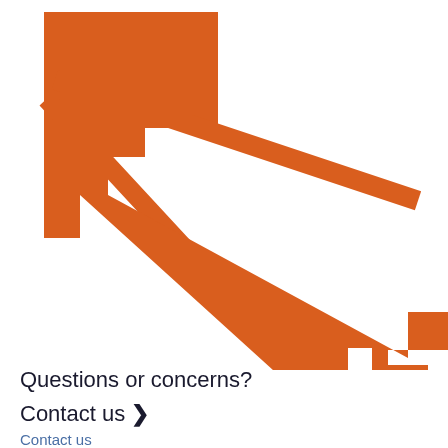[Figure (illustration): Large orange key icon displayed diagonally, with a decorative bow (loop) at the top-left and teeth/ridges along the right side of the blade, rendered in a flat icon style in orange (#d95e1e) on white background.]
Questions or concerns?
Contact us ›
Contact us